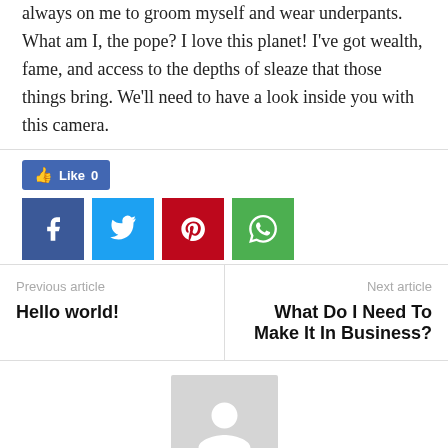always on me to groom myself and wear underpants. What am I, the pope? I love this planet! I've got wealth, fame, and access to the depths of sleaze that those things bring. We'll need to have a look inside you with this camera.
[Figure (infographic): Social sharing buttons: Facebook Like button showing 0 likes, followed by Facebook, Twitter, Pinterest, and WhatsApp share icon buttons]
Previous article
Hello world!
Next article
What Do I Need To Make It In Business?
[Figure (photo): Default user avatar placeholder — grey square with white silhouette of a person]